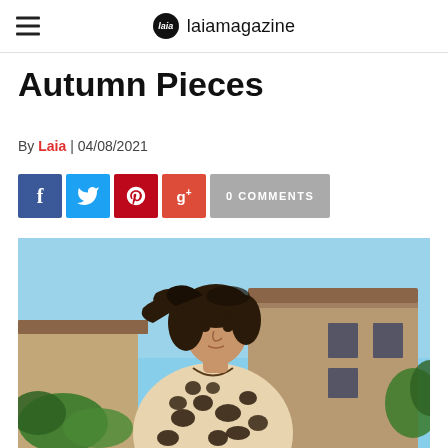laiamagazine
Autumn Pieces
By Laia | 04/08/2021
[Figure (infographic): Social sharing buttons: Facebook, Twitter, Pinterest, Google+, 0 COMMENTS]
[Figure (photo): Woman with dark wavy hair wearing a leopard-print blouse, standing outdoors in front of a rustic stone building with a blue sky background]